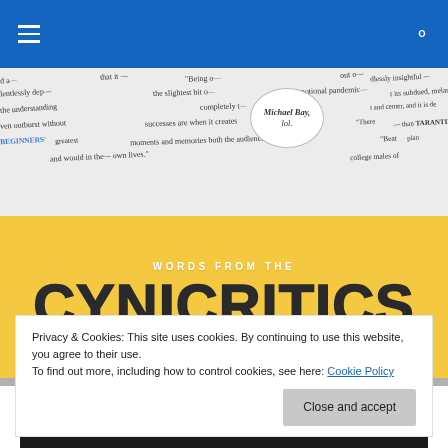Cynicritics navigation bar
[Figure (screenshot): Cynicritics blog banner with scattered film review quote snippets on grey background, yellow band reading WORDS FROM THE CYNICRITICS in large bold black text, and a speech bubble saying 'Michael Bay, lol.']
TAGGED WITH LET THE RIGHT ONE IN
Privacy & Cookies: This site uses cookies. By continuing to use this website, you agree to their use.
To find out more, including how to control cookies, see here: Cookie Policy
Close and accept